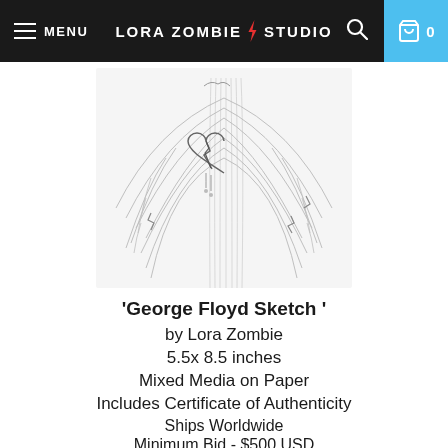MENU | LORA ZOMBIE ⚡ STUDIO | 🔍 | 🛍 0
[Figure (illustration): Pencil sketch illustration showing a figure with large wings spread out, with a broken heart symbol in the center dripping tears, rendered in graphite/pencil on white paper.]
'George Floyd Sketch '
by Lora Zombie
5.5x 8.5 inches
Mixed Media on Paper
Includes Certificate of Authenticity
Ships Worldwide
Minimum Bid - $500 USD